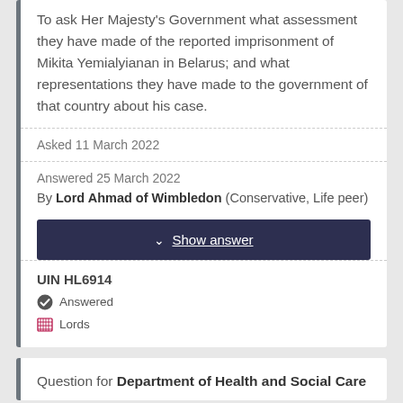To ask Her Majesty's Government what assessment they have made of the reported imprisonment of Mikita Yemialyianan in Belarus; and what representations they have made to the government of that country about his case.
Asked 11 March 2022
Answered 25 March 2022
By Lord Ahmad of Wimbledon (Conservative, Life peer)
Show answer
UIN HL6914
Answered
Lords
Question for Department of Health and Social Care